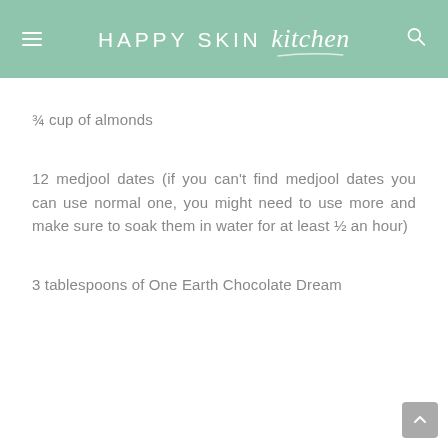HAPPY SKIN kitchen
¾ cup of almonds
12 medjool dates (if you can't find medjool dates you can use normal one, you might need to use more and make sure to soak them in water for at least ½ an hour)
3 tablespoons of One Earth Chocolate Dream